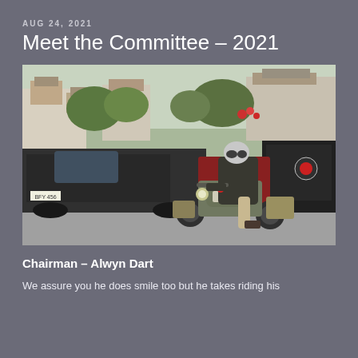AUG 24, 2021
Meet the Committee – 2021
[Figure (photo): A person wearing a helmet and sunglasses riding a vintage military-style olive green motorcycle with registration C58869, in a car park with cars and vans in the background and shops/buildings visible beyond.]
Chairman – Alwyn Dart
We assure you he does smile too but he takes riding his